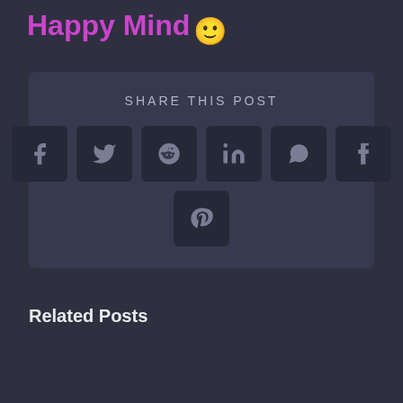Happy Mind 🙂
SHARE THIS POST
[Figure (infographic): Share this post section with social media icons: Facebook, Twitter, Reddit, LinkedIn, WhatsApp, Tumblr, Pinterest]
Related Posts